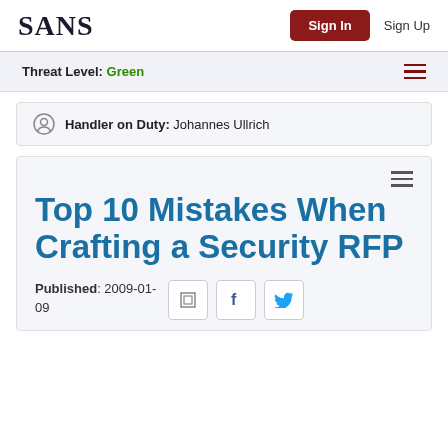SANS  Sign In  Sign Up
Threat Level: Green
Handler on Duty: Johannes Ullrich
Top 10 Mistakes When Crafting a Security RFP
Published: 2009-01-09